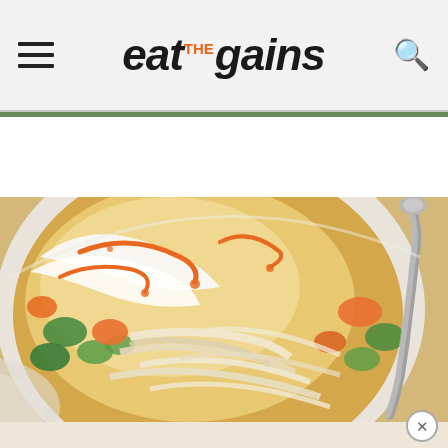eat THE gains — navigation header with hamburger menu and search icon
[Figure (photo): Overhead close-up photo of a bowl of creamy buffalo chicken soup with shredded chicken, celery, carrots, and hot sauce drizzle, with a spoon resting in the bowl on a light gray surface.]